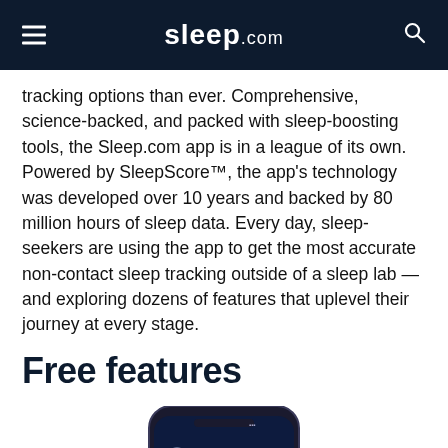sleep.com
tracking options than ever. Comprehensive, science-backed, and packed with sleep-boosting tools, the Sleep.com app is in a league of its own. Powered by SleepScore™, the app's technology was developed over 10 years and backed by 80 million hours of sleep data. Every day, sleep-seekers are using the app to get the most accurate non-contact sleep tracking outside of a sleep lab — and exploring dozens of features that uplevel their journey at every stage.
Free features
[Figure (screenshot): Smartphone screen showing the Sleep.com app with a 'Sounds for Falling Asleep' feature screen. The screen displays a dark navy background with text describing science-backed sounds designed to gradually guide breathing to a slower pace, helping users relax and fall asleep easier.]